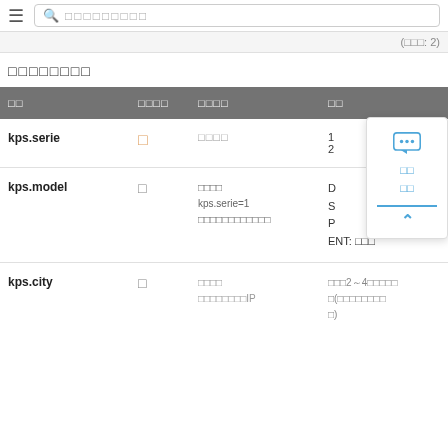☰  🔍 □□□□□□□□□
(□□□: 2)
□□□□□□□□
| □□ | □□□□ | □□□□ | □□ |
| --- | --- | --- | --- |
| kps.serie | □ | □□□□ | 1
2 |
| kps.model | □ | □□□□
kps.serie=1
□□□□□□□□□□□□ | D
S
P
ENT: □□□ |
| kps.city | □ | □□□□
□□□□□□□□IP | □□□2～4□□□□□
□(□□□□□□□□
□) |